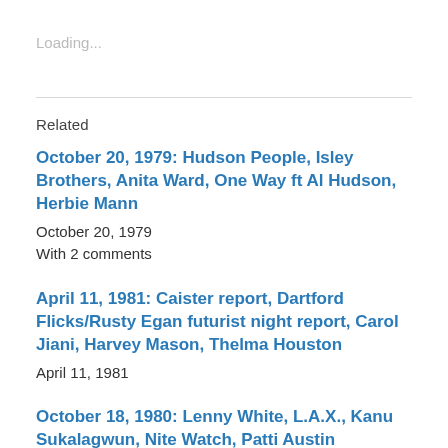Loading...
Related
October 20, 1979: Hudson People, Isley Brothers, Anita Ward, One Way ft Al Hudson, Herbie Mann
October 20, 1979
With 2 comments
April 11, 1981: Caister report, Dartford Flicks/Rusty Egan futurist night report, Carol Jiani, Harvey Mason, Thelma Houston
April 11, 1981
October 18, 1980: Lenny White, L.A.X., Kanu Sukalagwun, Nite Watch, Patti Austin